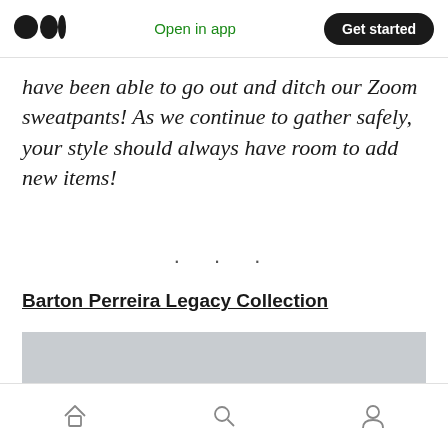Medium logo | Open in app | Get started
have been able to go out and ditch our Zoom sweatpants! As we continue to gather safely, your style should always have room to add new items!
· · ·
Barton Perreira Legacy Collection
[Figure (photo): Two people with curly hair, photo partially cropped, light grey background]
Home | Search | Profile icons